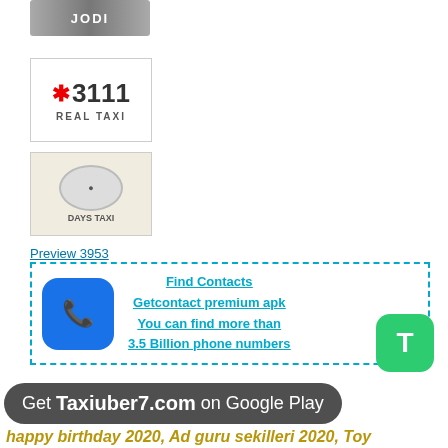[Figure (logo): Greyed out logo image at top]
[Figure (logo): 3111 Real Taxi logo with red asterisk and number 3111, text REAL TAXI below]
[Figure (logo): Days Taxi logo with taxi car badge]
Preview 3953
[Figure (infographic): Find Contacts ad box with phone icon. Text: Find Contacts, Getcontact premium apk, You can find more than 3.5 Billion phone numbers]
Taxiuber7.com
[Figure (logo): Green T button]
Get Taxiuber7.com on Google Play
happy birthday 2020, Ad guru sekilleri 2020, Toy